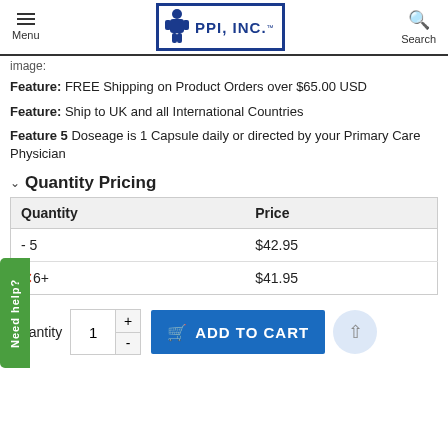Menu | PPI, INC. | Search
image:
Feature: FREE Shipping on Product Orders over $65.00 USD
Feature: Ship to UK and all International Countries
Feature 5 Doseage is 1 Capsule daily or directed by your Primary Care Physician
Quantity Pricing
| Quantity | Price |
| --- | --- |
| - 5 | $42.95 |
| 6+ | $41.95 |
Quantity  1  +  -  ADD TO CART